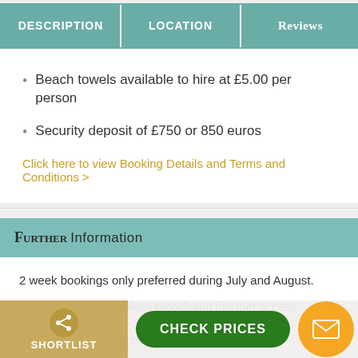DESCRIPTION | LOCATION | Reviews
Beach towels available to hire at £5.00 per person
Security deposit of £750 or 850 euros
Click here to view Booking Details and Terms and Conditions >
Further Information
2 week bookings only preferred during July and August.
Air-conditioning, wireless broadband internet access, private pool, ...minute drive from beaches.